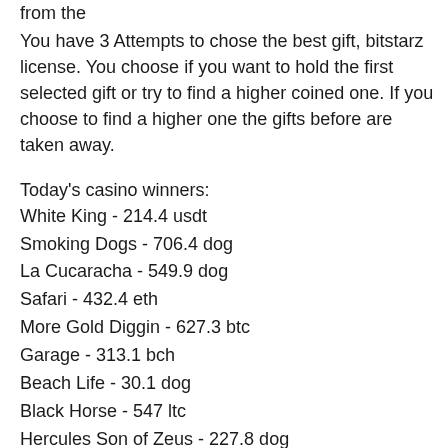from the
You have 3 Attempts to chose the best gift, bitstarz license. You choose if you want to hold the first selected gift or try to find a higher coined one. If you choose to find a higher one the gifts before are taken away.
Today's casino winners:
White King - 214.4 usdt
Smoking Dogs - 706.4 dog
La Cucaracha - 549.9 dog
Safari - 432.4 eth
More Gold Diggin - 627.3 btc
Garage - 313.1 bch
Beach Life - 30.1 dog
Black Horse - 547 ltc
Hercules Son of Zeus - 227.8 dog
Sweet Life - 482.2 eth
Sunset Delight - 238.9 btc
Treasure Island - 42.7 btc
Hot Diamonds - 496.1 ltc
Paris Nights - 14.2 usdt